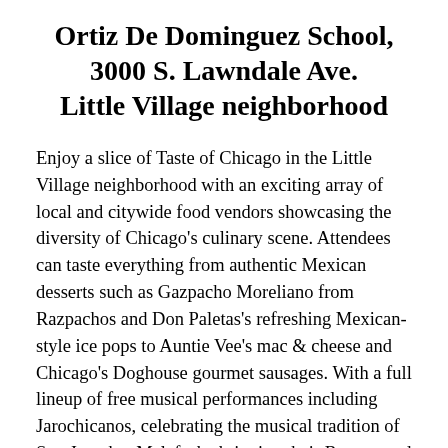Ortiz De Dominguez School, 3000 S. Lawndale Ave. Little Village neighborhood
Enjoy a slice of Taste of Chicago in the Little Village neighborhood with an exciting array of local and citywide food vendors showcasing the diversity of Chicago's culinary scene. Attendees can taste everything from authentic Mexican desserts such as Gazpacho Moreliano from Razpachos and Don Paletas's refreshing Mexican-style ice pops to Auntie Vee's mac & cheese and Chicago's Doghouse gourmet sausages. With a full lineup of free musical performances including Jarochicanos, celebrating the musical tradition of Son Jarocho, Malafacha bringing their Reggae and Latin rhythms and more, it's an event not to be missed. See schedule below.